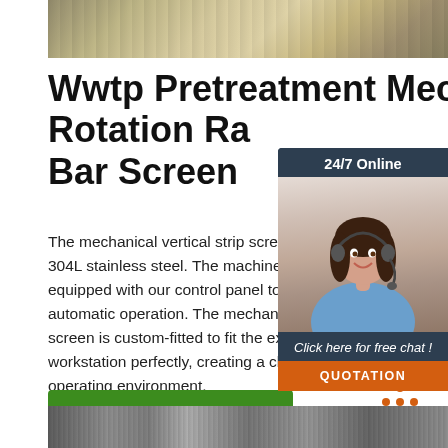[Figure (photo): Top banner photo showing rolled metal coils or strips, grey/beige tones]
Wwtp Pretreatment Mechanical Rotation Rake Bar Screen
The mechanical vertical strip screen is m... 304L stainless steel. The machine is also equipped with our control panel to ensure automatic operation. The mechanical vertical screen is custom-fitted to fit the existing workstation perfectly, creating a clean and operating environment.
[Figure (photo): 24/7 online chat sidebar with woman wearing headset, dark navy background, orange QUOTATION button]
Get Price
[Figure (illustration): Orange TOP arrow badge/icon]
[Figure (photo): Bottom banner photo showing metal bar screens or filters, grey tones]